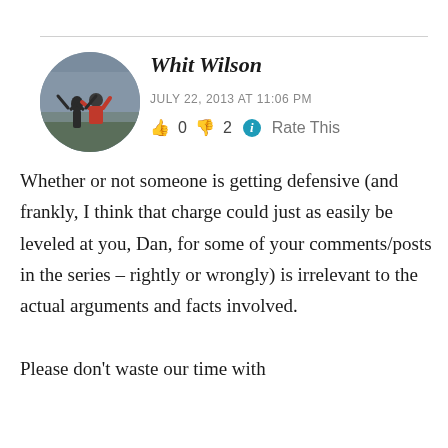[Figure (photo): Circular avatar photo of a person with arms raised outdoors]
Whit Wilson
JULY 22, 2013 AT 11:06 PM
👍 0 👎 2 ℹ Rate This
Whether or not someone is getting defensive (and frankly, I think that charge could just as easily be leveled at you, Dan, for some of your comments/posts in the series – rightly or wrongly) is irrelevant to the actual arguments and facts involved.
Please don't waste our time with